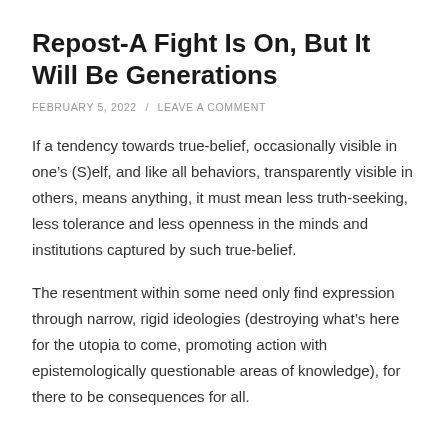Repost-A Fight Is On, But It Will Be Generations
FEBRUARY 5, 2022 / LEAVE A COMMENT
If a tendency towards true-belief, occasionally visible in one’s (S)elf, and like all behaviors, transparently visible in others, means anything, it must mean less truth-seeking, less tolerance and less openness in the minds and institutions captured by such true-belief.
The resentment within some need only find expression through narrow, rigid ideologies (destroying what’s here for the utopia to come, promoting action with epistemologically questionable areas of knowledge), for there to be consequences for all.